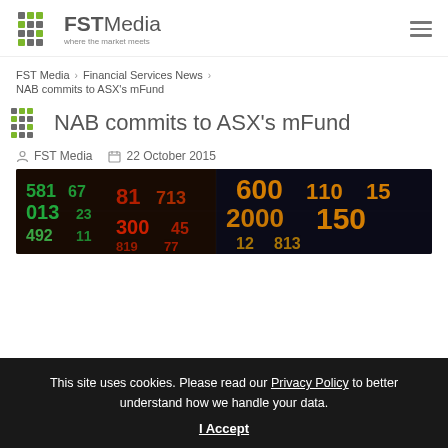FST Media — where the market meets
FST Media > Financial Services News > NAB commits to ASX's mFund
NAB commits to ASX's mFund
FST Media  22 October 2015
[Figure (photo): Stock market ticker board showing colorful electronic numbers (orange, green, red) representing financial data]
This site uses cookies. Please read our Privacy Policy to better understand how we handle your data. I Accept